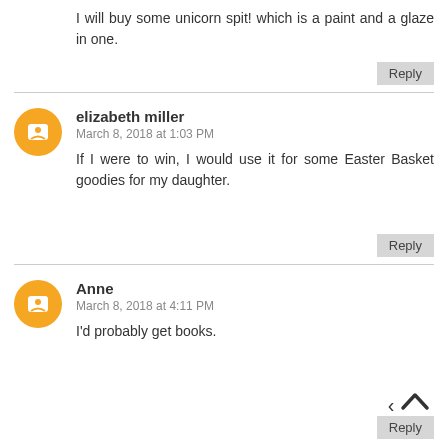I will buy some unicorn spit! which is a paint and a glaze in one.
Reply
elizabeth miller
March 8, 2018 at 1:03 PM
If I were to win, I would use it for some Easter Basket goodies for my daughter.
Reply
Anne
March 8, 2018 at 4:11 PM
I'd probably get books.
Reply